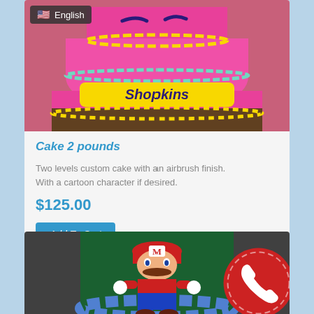[Figure (photo): Pink Shopkins two-tier custom birthday cake with airbrush finish, yellow and teal decorations, with 'Shopkins' written on it. Has a US flag English language badge overlay in top-left.]
Cake 2 pounds
Two levels custom cake with an airbrush finish. With a cartoon character if desired.
$125.00
Add To Cart
[Figure (photo): Mario themed custom cake with Super Mario figure on green background with blue frosting border. Red phone badge in bottom-right corner.]